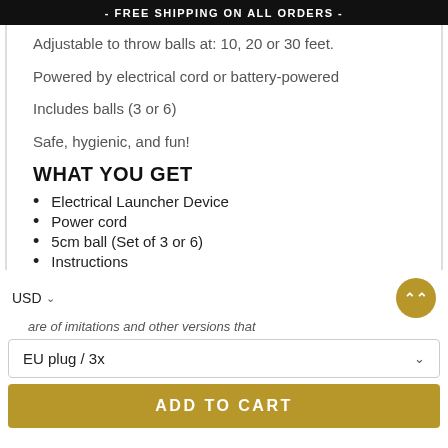- FREE SHIPPING ON ALL ORDERS -
Adjustable to throw balls at: 10, 20 or 30 feet.
Powered by electrical cord or battery-powered
Includes balls (3 or 6)
Safe, hygienic, and fun!
WHAT YOU GET
Electrical Launcher Device
Power cord
5cm ball (Set of 3 or 6)
Instructions
are of imitations and other versions that
EU plug / 3x
ADD TO CART